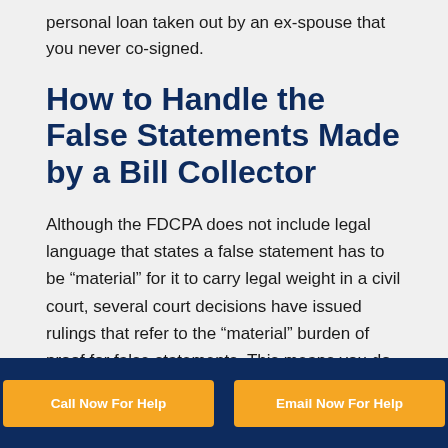personal loan taken out by an ex-spouse that you never co-signed.
How to Handle the False Statements Made by a Bill Collector
Although the FDCPA does not include legal language that states a false statement has to be “material” for it to carry legal weight in a civil court, several court decisions have issued rulings that refer to the “material” burden of proof for false statements. This means you do not have to prove the
Call Now For Help   Email Now For Help